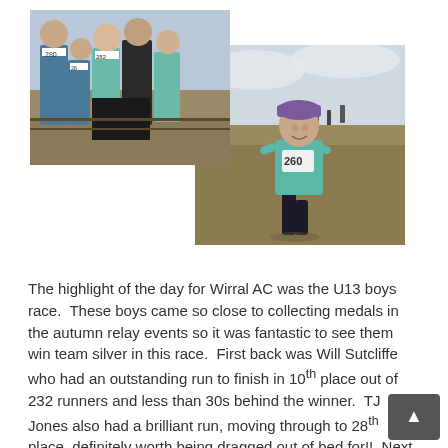[Figure (photo): Two overlapping photographs from a cross-country running event. Left photo shows a group of young female runners in athletic vests (numbers 280, 26, 282 visible) standing together before or after a race on a field. Right/front photo shows a single female runner (number 280) in a teal vest with a purple cap running across a muddy cross-country course, with other runners visible in the background.]
The highlight of the day for Wirral AC was the U13 boys race.  These boys came so close to collecting medals in the autumn relay events so it was fantastic to see them win team silver in this race.  First back was Will Sutcliffe who had an outstanding run to finish in 10th place out of 232 runners and less than 30s behind the winner.  TJ Jones also had a brilliant run, moving through to 28th place, definitely worth being dragged out of bed for!!  Next